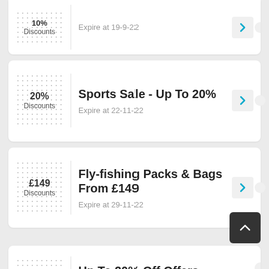10% Discounts — Expire at 19-9-22
Sports Sale - Up To 20%
20% Discounts
Expire at 22-11-22
Fly-fishing Packs & Bags From £149
£149 Discounts
Expire at 29-11-22
Up To 20% Off Offers